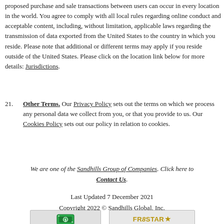proposed purchase and sale transactions between users can occur in every location in the world. You agree to comply with all local rules regarding online conduct and acceptable content, including, without limitation, applicable laws regarding the transmission of data exported from the United States to the country in which you reside. Please note that additional or different terms may apply if you reside outside of the United States. Please click on the location link below for more details: Jurisdictions.
21. Other Terms. Our Privacy Policy sets out the terms on which we process any personal data we collect from you, or that you provide to us. Our Cookies Policy sets out our policy in relation to cookies.
We are one of the Sandhills Group of Companies. Click here to Contact Us.
Last Updated 7 December 2021
Copyright 2022 © Sandhills Global, Inc.
[Figure (logo): Money/cash icon in green on gray background]
[Figure (logo): FReStar logo in gold/yellow text on gray background]